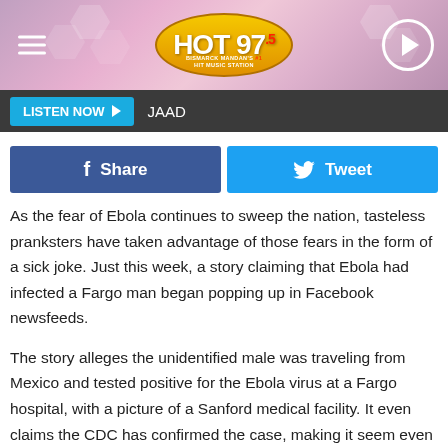[Figure (logo): HOT 97.5 Bismarck Mandan's #1 Hit Music Station radio station logo on pink/purple hexagon background with menu icon and play button]
LISTEN NOW  JAAD
[Figure (infographic): Share and Tweet social media buttons - Facebook Share button in blue and Twitter Tweet button in cyan]
As the fear of Ebola continues to sweep the nation, tasteless pranksters have taken advantage of those fears in the form of a sick joke. Just this week, a story claiming that Ebola had infected a Fargo man began popping up in Facebook newsfeeds.
The story alleges the unidentified male was traveling from Mexico and tested positive for the Ebola virus at a Fargo hospital, with a picture of a Sanford medical facility. It even claims the CDC has confirmed the case, making it seem even more legitimate.